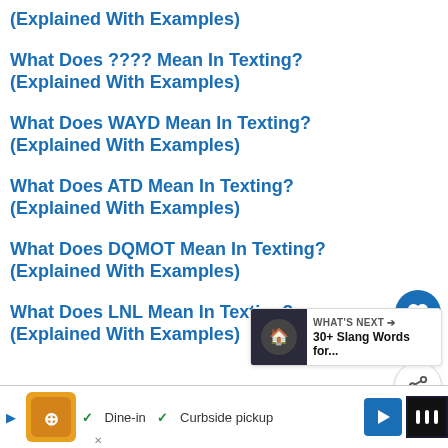(Explained With Examples)
What Does ???? Mean In Texting? (Explained With Examples)
What Does WAYD Mean In Texting? (Explained With Examples)
What Does ATD Mean In Texting? (Explained With Examples)
What Does DQMOT Mean In Texting? (Explained With Examples)
What Does LNL Mean In Texting? (Explained With Examples)
[Figure (screenshot): Ad bar at bottom with restaurant logo, Dine-in and Curbside pickup checkmarks, navigation arrow icon]
[Figure (infographic): Floating action buttons: heart/like button (blue circle), count 1, share button]